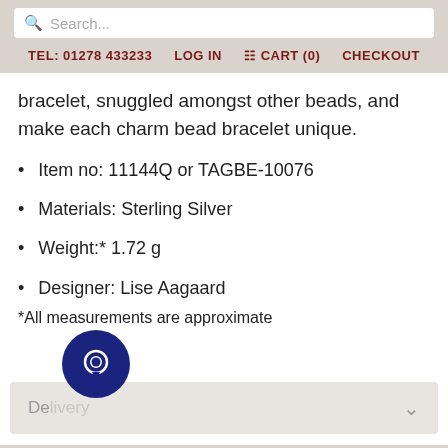Search... | TEL: 01278 433233 | LOG IN | CART (0) | CHECKOUT
bracelet, snuggled amongst other beads, and make each charm bead bracelet unique.
Item no: 11144Q or TAGBE-10076
Materials: Sterling Silver
Weight:* 1.72 g
Designer: Lise Aagaard
*All measurements are approximate
Delivery